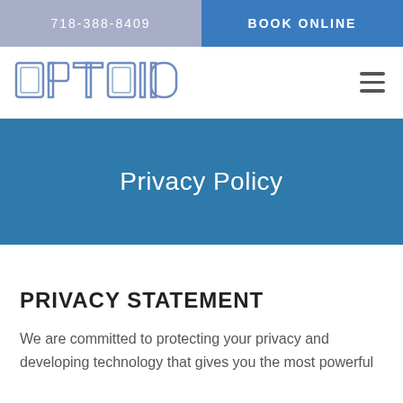718-388-8409
BOOK ONLINE
[Figure (logo): OPTOID logo in outline/tech style lettering in blue-gray tones]
Privacy Policy
PRIVACY STATEMENT
We are committed to protecting your privacy and developing technology that gives you the most powerful